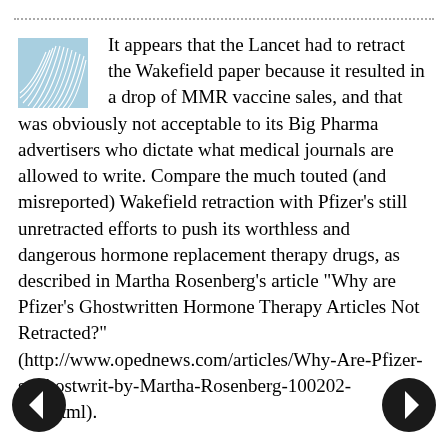It appears that the Lancet had to retract the Wakefield paper because it resulted in a drop of MMR vaccine sales, and that was obviously not acceptable to its Big Pharma advertisers who dictate what medical journals are allowed to write. Compare the much touted (and misreported) Wakefield retraction with Pfizer's still unretracted efforts to push its worthless and dangerous hormone replacement therapy drugs, as described in Martha Rosenberg's article "Why are Pfizer's Ghostwritten Hormone Therapy Articles Not Retracted?" (http://www.opednews.com/articles/Why-Are-Pfizer-s-Ghostwrit-by-Martha-Rosenberg-100202-181.html).